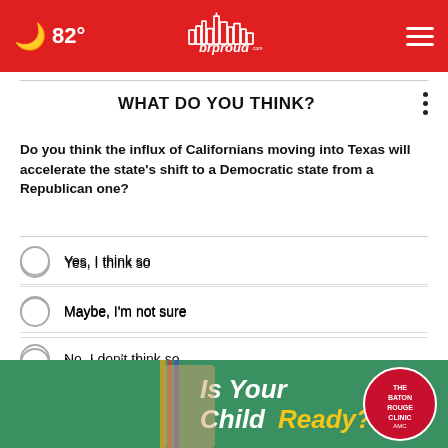brproud.com — 82°
WHAT DO YOU THINK?
Do you think the influx of Californians moving into Texas will accelerate the state's shift to a Democratic state from a Republican one?
Yes, I think so
Maybe, I'm not sure
No, I don't think so
Other / No opinion
NEXT *
[Figure (photo): Is Your Child Ready? — Baton Rouge Clinic advertisement banner]
* By ...your ...reac...